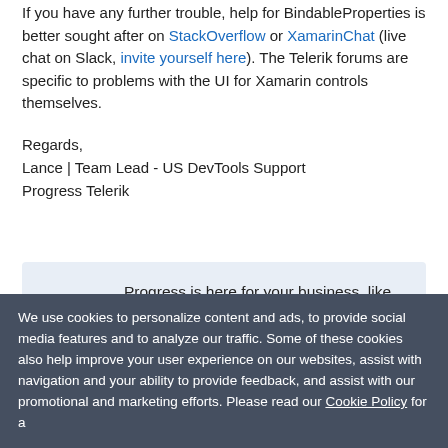If you have any further trouble, help for BindableProperties is better sought after on StackOverflow or XamarinChat (live chat on Slack, invite yourself here). The Telerik forums are specific to problems with the UI for Xamarin controls themselves.
Regards,
Lance | Team Lead - US DevTools Support
Progress Telerik
Progress is here for your business, like always. Read more about the measures we are taking to ensure business continuity and help fight the COVID-19 pandemic.
We use cookies to personalize content and ads, to provide social media features and to analyze our traffic. Some of these cookies also help improve your user experience on our websites, assist with navigation and your ability to provide feedback, and assist with our promotional and marketing efforts. Please read our Cookie Policy for a